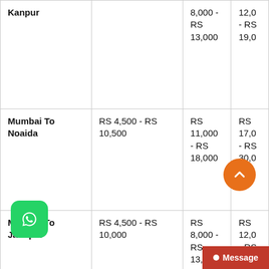| Route | Bike / Scooty | 1 BHK | 2/3 BHK |
| --- | --- | --- | --- |
| Kanpur |  | RS 8,000 - RS 13,000 | RS 12,0... - RS 19,0... |
| Mumbai To Noaida | RS 4,500 - RS 10,500 | RS 11,000 - RS 18,000 | RS 17,0... - RS 30,0... |
| Mumbai To Jaunpur | RS 4,500 - RS 10,000 | RS 8,000 - RS 13,000 | RS 12,0... - RS 19,0... |
| Mumbai To Patna | RS 4,500 - RS 10,500 | RS 11,000 - RS 18,000 | RS 17,0... - RS 30,0... |